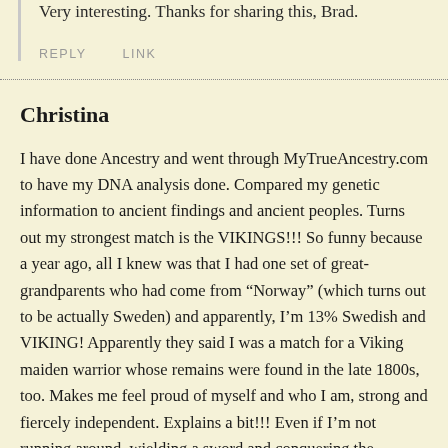Very interesting. Thanks for sharing this, Brad.
REPLY   LINK
Christina
I have done Ancestry and went through MyTrueAncestry.com to have my DNA analysis done. Compared my genetic information to ancient findings and ancient peoples. Turns out my strongest match is the VIKINGS!!! So funny because a year ago, all I knew was that I had one set of great-grandparents who had come from “Norway” (which turns out to be actually Sweden) and apparently, I’m 13% Swedish and VIKING! Apparently they said I was a match for a Viking maiden warrior whose remains were found in the late 1800s, too. Makes me feel proud of myself and who I am, strong and fiercely independent. Explains a bit!!! Even if I’m not running around, wielding a sword and conquering the